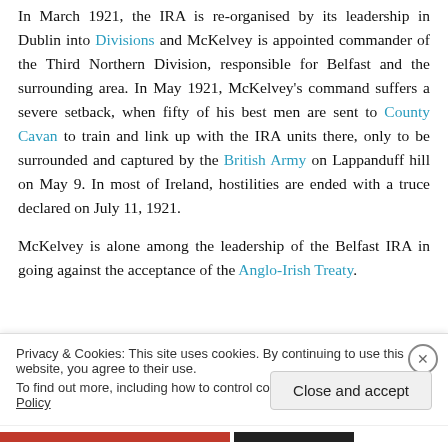In March 1921, the IRA is re-organised by its leadership in Dublin into Divisions and McKelvey is appointed commander of the Third Northern Division, responsible for Belfast and the surrounding area. In May 1921, McKelvey's command suffers a severe setback, when fifty of his best men are sent to County Cavan to train and link up with the IRA units there, only to be surrounded and captured by the British Army on Lappanduff hill on May 9. In most of Ireland, hostilities are ended with a truce declared on July 11, 1921.
McKelvey is alone among the leadership of the Belfast IRA in going against the acceptance of the Anglo-Irish Treaty.
Privacy & Cookies: This site uses cookies. By continuing to use this website, you agree to their use.
To find out more, including how to control cookies, see here: Cookie Policy